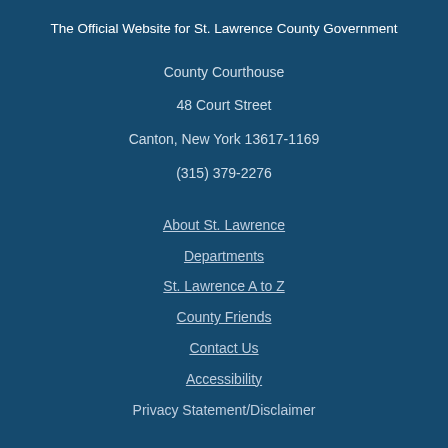The Official Website for St. Lawrence County Government
County Courthouse
48 Court Street
Canton, New York 13617-1169
(315) 379-2276
About St. Lawrence
Departments
St. Lawrence A to Z
County Friends
Contact Us
Accessibility
Privacy Statement/Disclaimer